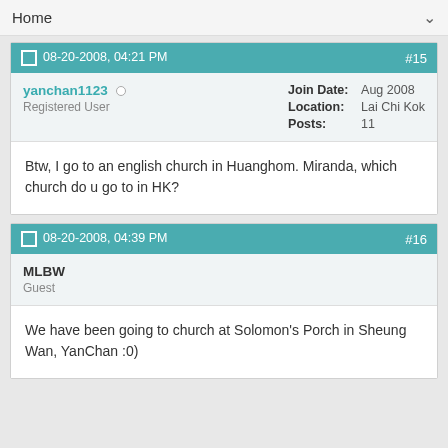Home
08-20-2008, 04:21 PM  #15
yanchan1123  Registered User
Join Date: Aug 2008
Location: Lai Chi Kok
Posts: 11
Btw, I go to an english church in Huanghom. Miranda, which church do u go to in HK?
08-20-2008, 04:39 PM  #16
MLBW
Guest
We have been going to church at Solomon's Porch in Sheung Wan, YanChan :0)